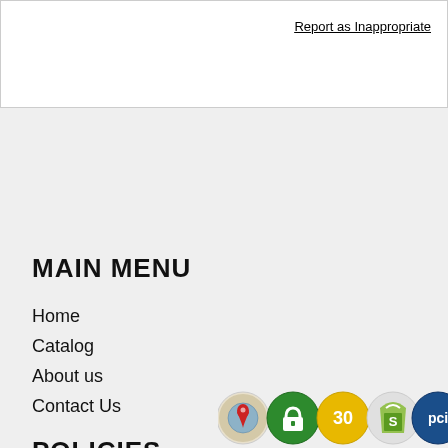Report as Inappropriate
MAIN MENU
Home
Catalog
About us
Contact Us
POLICIES
Refund Policy
Privacy Policy
Terms of Service
[Figure (logo): Five circular badge icons: map pin icon, green padlock icon, yellow '30' badge, Shopify bag icon, blue PCI badge]